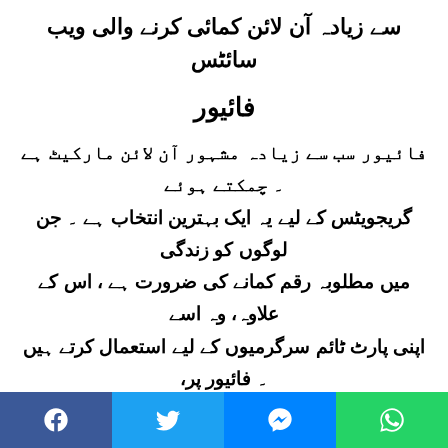سے زیادہ آن لائن کمائی کرنے والی ویب سائٹس
فائیور
فائیور سب سے زیادہ مشہور آن لائن مارکیٹ ہے ۔ چمکتے ہوئے گریجویٹس کے لیے یہ ایک بہترین انتخاب ہے ۔ جن لوگوں کو زندگی میں مطلوبہ رقم کمانے کی ضرورت ہے ، اس کے علاوہ، وہ اسے اپنی پارٹ ٹائم سرگرمیوں کے لیے استعمال کرتے ہیں ۔ فائیور پر، تمام بین الاقوامی سے فری لانسرز آن لائن اپنی پیشکشوں کو فروغ دیتے ہیں ۔ اس کے بعد، اپنے پروفائل اور پوسٹ کنٹربیومر کی